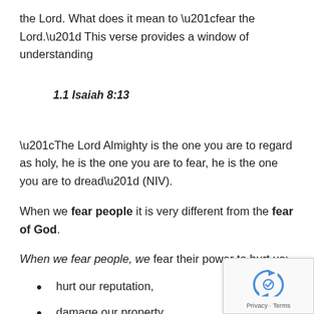the Lord. What does it mean to “fear the Lord.” This verse provides a window of understanding
1.1 Isaiah 8:13
“The Lord Almighty is the one you are to regard as holy, he is the one you are to fear, he is the one you are to dread” (NIV).
When we fear people it is very different from the fear of God.
When we fear people, we fear their power to hurt us:
hurt our reputation,
damage our property,